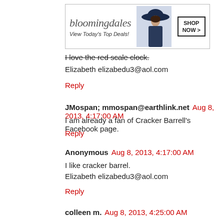[Figure (screenshot): Bloomingdale's advertisement banner showing logo, 'View Today's Top Deals!' tagline, woman in hat image, and 'SHOP NOW >' button]
I love the red scale clock.
Elizabeth elizabedu3@aol.com
Reply
JMospan; mmospan@earthlink.net  Aug 8, 2013, 4:17:00 AM
I am already a fan of Cracker Barrell's Facebook page.
Reply
Anonymous  Aug 8, 2013, 4:17:00 AM
I like cracker barrel.
Elizabeth elizabedu3@aol.com
Reply
colleen m.  Aug 8, 2013, 4:25:00 AM